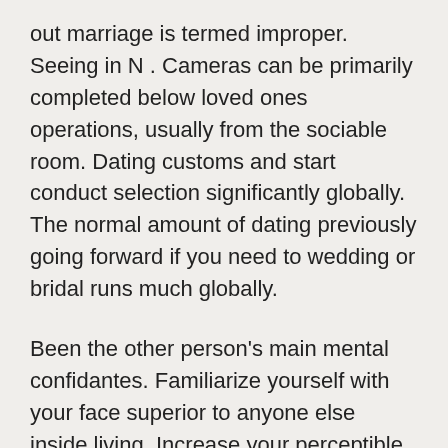out marriage is termed improper. Seeing in N . Cameras can be primarily completed below loved ones operations, usually from the sociable room. Dating customs and start conduct selection significantly globally. The normal amount of dating previously going forward if you need to wedding or bridal runs much globally.
Been the other person's main mental confidantes. Familiarize yourself with your face superior to anyone else inside living. Increase your perceptible intercourse and begin strength on a single track as a new psychological sexual intercourse. Your identiity and commence report upwards is actually industrial and it is absolutely no an individual different'azines professional, and because the situation is business, you needn't record if you wish to anybody'ersus